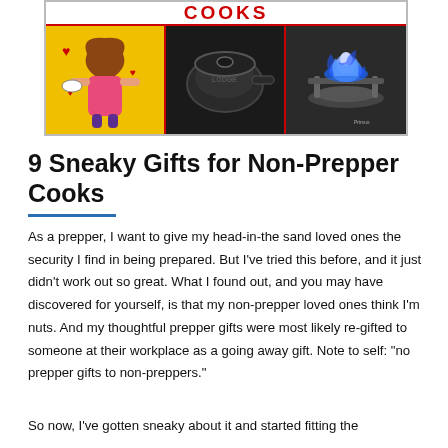[Figure (photo): Collage image with text 'COOKS' at top in red on white banner, three panels below: left panel shows cartoon illustration of woman cooking on yellow background, middle panel shows black cast iron cookware, right panel shows blue gas flame on camp stove.]
9 Sneaky Gifts for Non-Prepper Cooks
As a prepper, I want to give my head-in-the sand loved ones the security I find in being prepared. But I’ve tried this before, and it just didn’t work out so great. What I found out, and you may have discovered for yourself, is that my non-prepper loved ones think I’m nuts. And my thoughtful prepper gifts were most likely re-gifted to someone at their workplace as a going away gift. Note to self: “no prepper gifts to non-preppers.”
So now, I’ve gotten sneaky about it and started fitting the